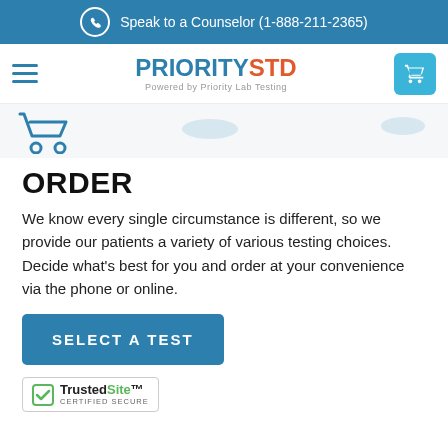Speak to a Counselor (1-888-211-2365)
[Figure (logo): PrioritySTD logo with hamburger menu and cart button]
[Figure (illustration): Shopping cart icon and step indicators]
ORDER
We know every single circumstance is different, so we provide our patients a variety of various testing choices. Decide what’s best for you and order at your convenience via the phone or online.
[Figure (infographic): SELECT A TEST button]
[Figure (logo): TrustedSite Certified Secure badge]